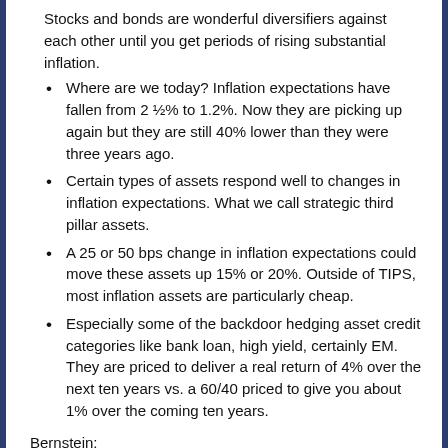Stocks and bonds are wonderful diversifiers against each other until you get periods of rising substantial inflation.
Where are we today? Inflation expectations have fallen from 2 ½% to 1.2%. Now they are picking up again but they are still 40% lower than they were three years ago.
Certain types of assets respond well to changes in inflation expectations. What we call strategic third pillar assets.
A 25 or 50 bps change in inflation expectations could move these assets up 15% or 20%. Outside of TIPS, most inflation assets are particularly cheap.
Especially some of the backdoor hedging asset credit categories like bank loan, high yield, certainly EM. They are priced to deliver a real return of 4% over the next ten years vs. a 60/40 priced to give you about 1% over the coming ten years.
Bernstein: